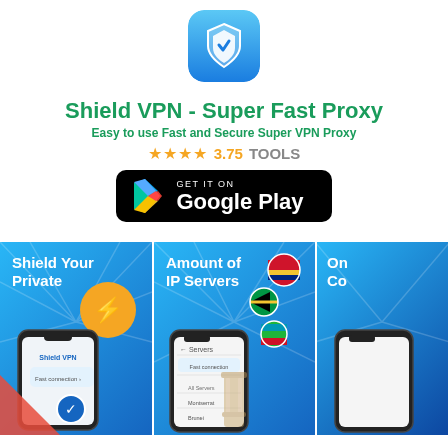[Figure (logo): Shield VPN app icon — blue rounded square with white shield and circular arrows]
Shield VPN - Super Fast Proxy
Easy to use Fast and Secure Super VPN Proxy
★★★★ 3.75   TOOLS
[Figure (screenshot): Get it on Google Play button — black rounded rectangle with Google Play logo and text]
[Figure (screenshot): Three app screenshots on blue gradient backgrounds: left shows 'Shield Your Private' with lightning bolt icon and phone UI; middle shows 'Amount of IP Servers' with server list phone UI and country flag icons; right shows partial 'On Co...' screenshot]